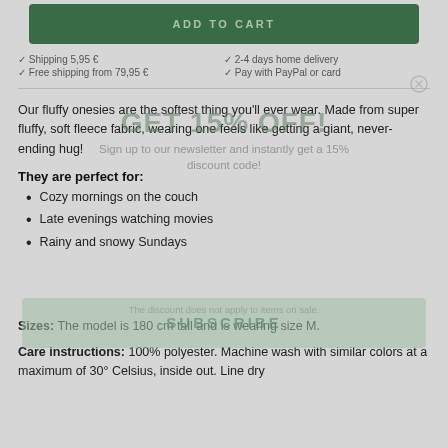ADD TO CART
✓ Shipping 5,95 €  ✓ 2-4 days home delivery  ✓ Free shipping from 79,95 €  ✓ Pay with PayPal or card
GET 15% OFF!
Sign up to our newsletter and instantly get a 15% discount code!
Our fluffy onesies are the softest thing you'll ever wear. Made from super fluffy, soft fleece fabric, wearing one feels like getting a giant, never-ending hug!
They are perfect for:
Cozy mornings on the couch
Late evenings watching movies
Rainy and snowy Sundays
SUBSCRIBE
The discount does not apply to items on sale.
Sizes: The model is 180 cm tall and is wearing size M.
Care instructions: 100% polyester. Machine wash with similar colors at a maximum of 30° Celsius, inside out. Line dry